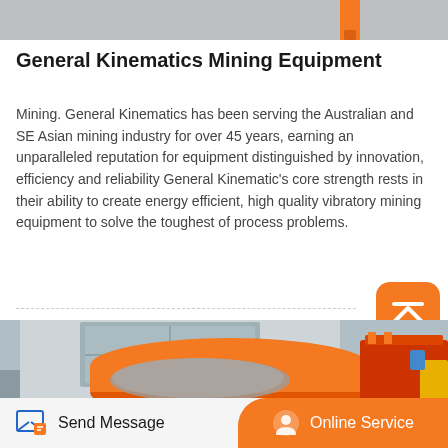[Figure (photo): Partial top image of mining equipment with orange element visible at top]
General Kinematics Mining Equipment
Mining. General Kinematics has been serving the Australian and SE Asian mining industry for over 45 years, earning an unparalleled reputation for equipment distinguished by innovation, efficiency and reliability General Kinematic's core strength rests in their ability to create energy efficient, high quality vibratory mining equipment to solve the toughest of process problems.
[Figure (photo): Photo of orange and grey vibratory mining equipment drums inside an industrial warehouse]
Send Message   Online Service